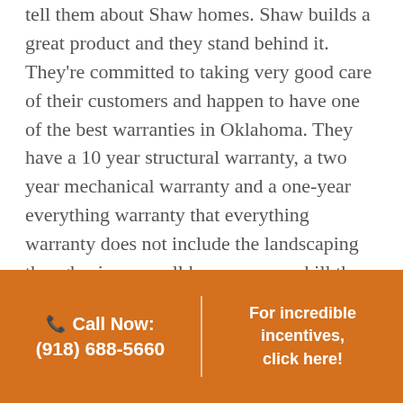tell them about Shaw homes. Shaw builds a great product and they stand behind it. They're committed to taking very good care of their customers and happen to have one of the best warranties in Oklahoma. They have a 10 year structural warranty, a two year mechanical warranty and a one-year everything warranty that everything warranty does not include the landscaping though, since we all know you can kill the landscaping. Shaw has the most transparent pricing and a very helpful process to walk you through all the choices and features and options and finishes and colors. And so
📞 Call Now: (918) 688-5660
For incredible incentives, click here!